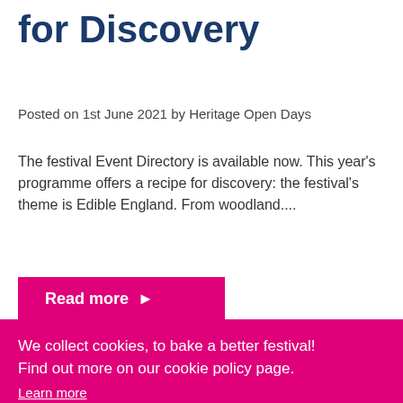for Discovery
Posted on 1st June 2021 by Heritage Open Days
The festival Event Directory is available now. This year’s programme offers a recipe for discovery: the festival’s theme is Edible England. From woodland....
Read more ►
We collect cookies, to bake a better festival! Find out more on our cookie policy page.
Learn more
Got it!